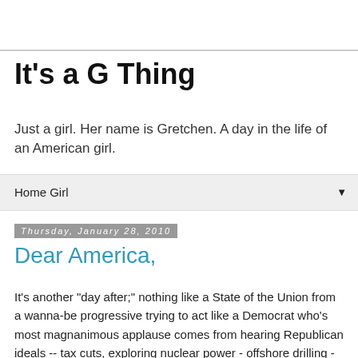It's a G Thing
Just a girl. Her name is Gretchen. A day in the life of an American girl.
Home Girl ▼
Thursday, January 28, 2010
Dear America,
It's another "day after;" nothing like a State of the Union from a wanna-be progressive trying to act like a Democrat who's most magnanimous applause comes from hearing Republican ideals -- tax cuts, exploring nuclear power - offshore drilling - clean coal energy, freeze on spending, and the ever so rousing appeal of an anti-lobbyist/anti-earmark